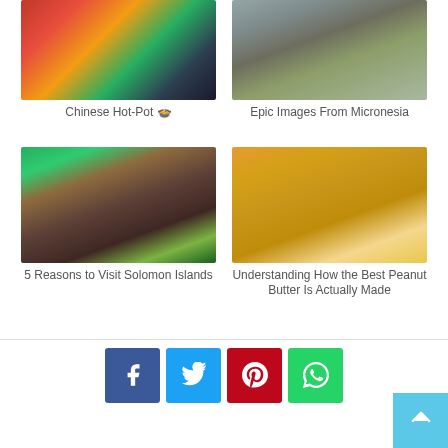[Figure (photo): Chinese Hot-Pot food image with colorful ingredients]
Chinese Hot-Pot 🍲
[Figure (photo): Epic images from Micronesia - stone ruins with vegetation]
Epic Images From Micronesia
[Figure (photo): 5 Reasons to Visit Solomon Islands - rustic entrance gate with tropical plants]
5 Reasons to Visit Solomon Islands
[Figure (photo): Jar of peanut butter swirled on top - Understanding How the Best Peanut Butter Is Actually Made]
Understanding How the Best Peanut Butter Is Actually Made